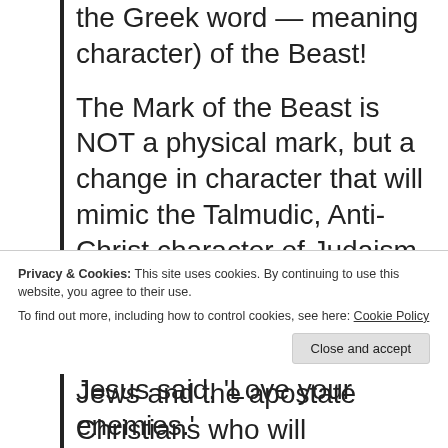the Greek word — meaning character) of the Beast!
The Mark of the Beast is NOT a physical mark, but a change in character that will mimic the Talmudic, Anti-Christ character of Judaism that is the antithesis of Jesus and His character.  It will be the character of the Jews and the apostate Christians who will
Privacy & Cookies: This site uses cookies. By continuing to use this website, you agree to their use.
To find out more, including how to control cookies, see here: Cookie Policy
Close and accept
Jesus said,  'Love your enemies.'